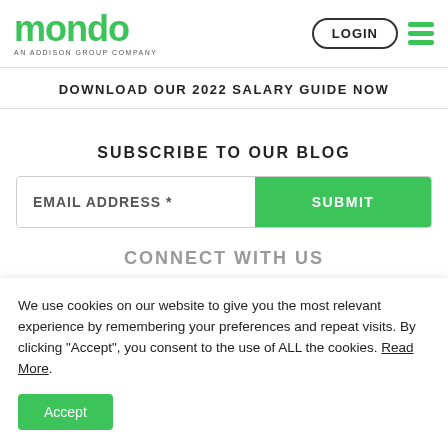mondo AN ADDISON GROUP COMPANY | LOGIN | menu
DOWNLOAD OUR 2022 SALARY GUIDE NOW
SUBSCRIBE TO OUR BLOG
EMAIL ADDRESS * | SUBMIT
CONNECT WITH US
We use cookies on our website to give you the most relevant experience by remembering your preferences and repeat visits. By clicking “Accept”, you consent to the use of ALL the cookies. Read More.
Accept